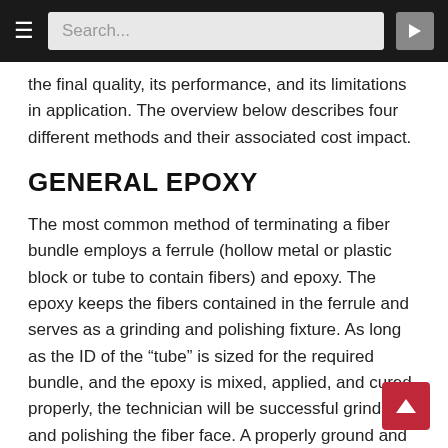Search...
the final quality, its performance, and its limitations in application. The overview below describes four different methods and their associated cost impact.
GENERAL EPOXY
The most common method of terminating a fiber bundle employs a ferrule (hollow metal or plastic block or tube to contain fibers) and epoxy. The epoxy keeps the fibers contained in the ferrule and serves as a grinding and polishing fixture. As long as the ID of the “tube” is sized for the required bundle, and the epoxy is mixed, applied, and cured properly, the technician will be successful grinding and polishing the fiber face. A properly ground and polished face will create a high quality, low loss termination. Epoxy also prevents liquid, dust and debris from entering the assembly, which are contributing factors of fiber deterioration.